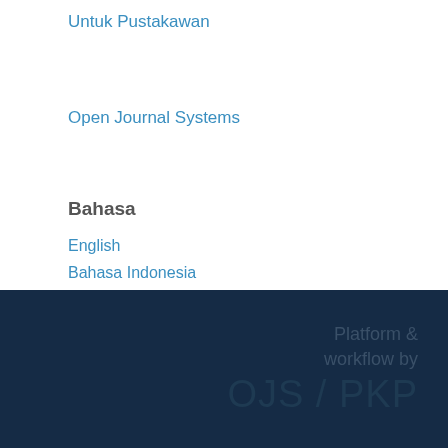Untuk Pustakawan
Open Journal Systems
Bahasa
English
Bahasa Indonesia
Platform & workflow by OJS / PKP